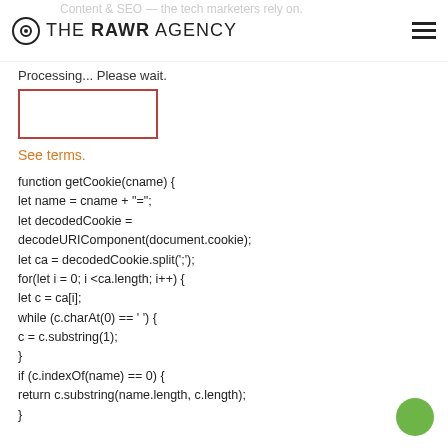THE RAWR AGENCY
Processing... Please wait.
[Figure (other): Empty input box with red/dark-red border]
See terms.
function getCookie(cname) {
let name = cname + "=";
let decodedCookie =
decodeURIComponent(document.cookie);
let ca = decodedCookie.split(';');
for(let i = 0; i <ca.length; i++) {
let c = ca[i];
while (c.charAt(0) == ' ') {
c = c.substring(1);
}
if (c.indexOf(name) == 0) {
return c.substring(name.length, c.length);
}